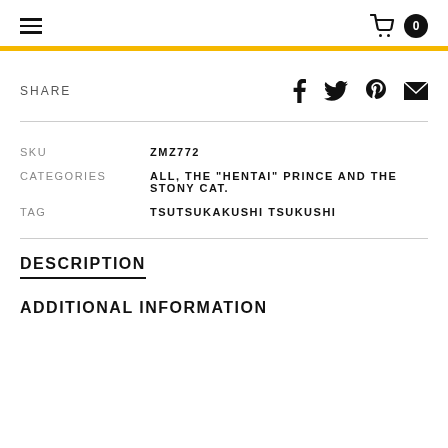≡  🛒 0
SHARE
| SKU | ZMZ772 |
| --- | --- |
| CATEGORIES | ALL, THE "HENTAI" PRINCE AND THE STONY CAT. |
| TAG | TSUTSUKAKUSHI TSUKUSHI |
DESCRIPTION
ADDITIONAL INFORMATION